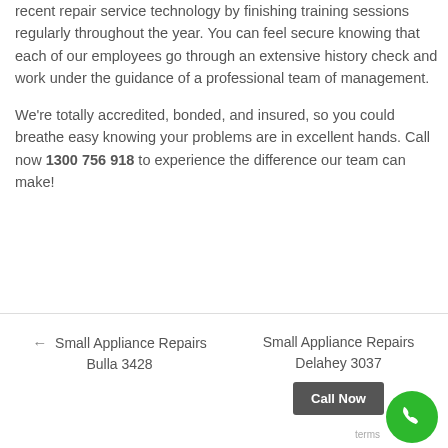recent repair service technology by finishing training sessions regularly throughout the year. You can feel secure knowing that each of our employees go through an extensive history check and work under the guidance of a professional team of management.
We're totally accredited, bonded, and insured, so you could breathe easy knowing your problems are in excellent hands. Call now 1300 756 918 to experience the difference our team can make!
← Small Appliance Repairs Bulla 3428
Small Appliance Repairs Delahey 3037
[Figure (other): Green circular phone/call button with white phone icon]